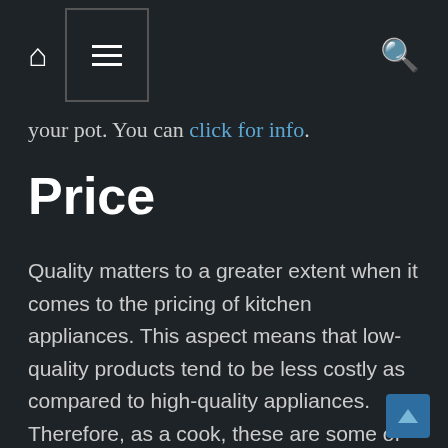your pot. You can click for info.
Price
Quality matters to a greater extent when it comes to the pricing of kitchen appliances. This aspect means that low-quality products tend to be less costly as compared to high-quality appliances. Therefore, as a cook, these are some of the aspects you need to consider as you look for your cookware. Additionally, if you are a professional cook, do not go for low-quality kitchenware, as this may cost you dearly. You can imagine hosting a group of professionals in your room or workplace, and then you realize that the food you prepared is not well cooked because of the appliances you